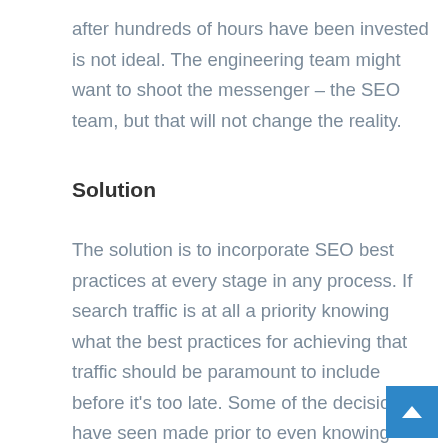after hundreds of hours have been invested is not ideal. The engineering team might want to shoot the messenger – the SEO team, but that will not change the reality.
Solution
The solution is to incorporate SEO best practices at every stage in any process. If search traffic is at all a priority knowing what the best practices for achieving that traffic should be paramount to include before it's too late. Some of the decisions I have seen made prior to even knowing about the product have either caused expensive redos or have forced the product